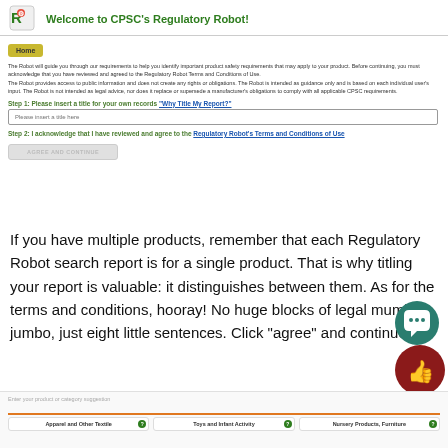Welcome to CPSC's Regulatory Robot!
The Robot will guide you through our requirements to help you identify important product safety requirements that may apply to your product. Before continuing, you must acknowledge that you have reviewed and agreed to the Regulatory Robot Terms and Conditions of Use.
The Robot provides access to public information and does not create any rights or obligations. The Robot is intended as guidance only and is based on each individual user's input. The Robot is not intended as legal advice, nor does it replace or supersede a manufacturer's obligations to comply with all applicable CPSC requirements.
Step 1: Please insert a title for your own records "Why Title My Report?"
Step 2: I acknowledge that I have reviewed and agree to the Regulatory Robot's Terms and Conditions of Use
If you have multiple products, remember that each Regulatory Robot search report is for a single product. That is why titling your report is valuable: it distinguishes between them. As for the terms and conditions, hooray! No huge blocks of legal mumbo-jumbo, just eight little sentences. Click “agree” and continue.
Enter your product or category suggestion
Apparel and Other Textile
Toys and Infant Activity
Nursery Products, Furniture